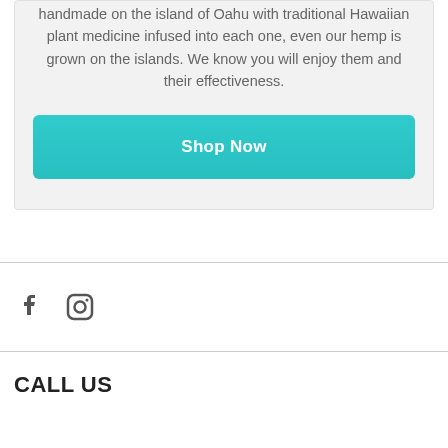handmade on the island of Oahu with traditional Hawaiian plant medicine infused into each one, even our hemp is grown on the islands. We know you will enjoy them and their effectiveness.
Shop Now
[Figure (other): Social media icons: Facebook and Instagram]
CALL US